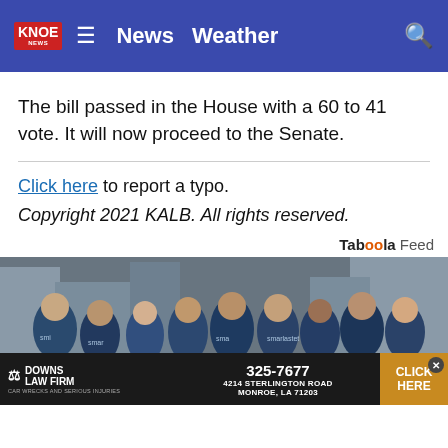KNOE News  Weather
The bill passed in the House with a 60 to 41 vote. It will now proceed to the Senate.
Click here to report a typo.
Copyright 2021 KALB. All rights reserved.
Taboola Feed
[Figure (photo): Group of people in matching blue/teal t-shirts standing on a city street]
Downs Law Firm | 325-7677 | 4214 Sterlington Road Monroe, LA 71203 | Click Here